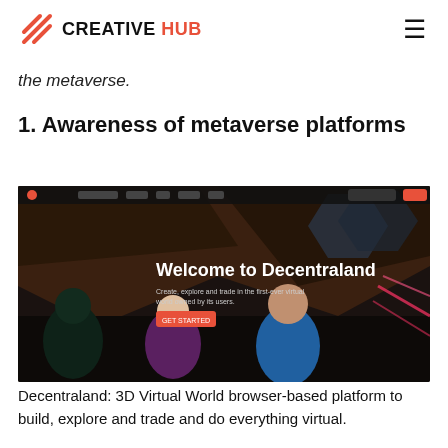CREATIVE HUB
the metaverse.
1. Awareness of metaverse platforms
[Figure (screenshot): Screenshot of the Decentraland website homepage showing 'Welcome to Decentraland' headline with animated 3D characters and a dark futuristic virtual world background]
Decentraland: 3D Virtual World browser-based platform to build, explore and trade and do everything virtual.